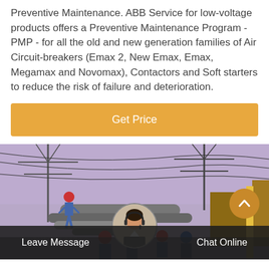Preventive Maintenance. ABB Service for low-voltage products offers a Preventive Maintenance Program - PMP - for all the old and new generation families of Air Circuit-breakers (Emax 2, New Emax, Emax, Megamax and Novomax), Contactors and Soft starters to reduce the risk of failure and deterioration.
Get Price
[Figure (photo): Workers in hard hats at an industrial electrical substation with overhead power lines and pipework. A female customer service representative avatar appears at the bottom center.]
Leave Message   Chat Online